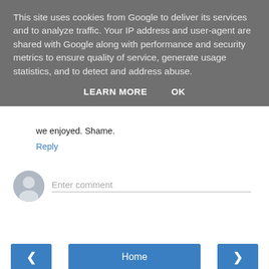This site uses cookies from Google to deliver its services and to analyze traffic. Your IP address and user-agent are shared with Google along with performance and security metrics to ensure quality of service, generate usage statistics, and to detect and address abuse.
LEARN MORE   OK
we enjoyed. Shame.
Reply
Enter comment
Home
View web version
Powered by Blogger.